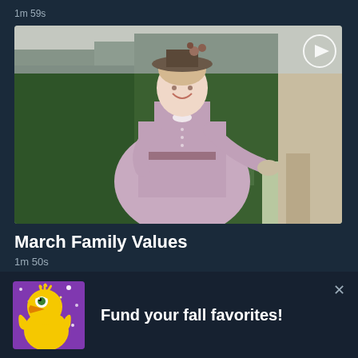1m 59s
[Figure (photo): Video thumbnail showing a young woman in a Victorian-style lavender dress and floral hat, smiling outdoors with green trees behind her. A play button icon appears in the top right corner.]
March Family Values
1m 50s
[Figure (illustration): Big Bird from Sesame Street on a purple sparkly background with stars]
Fund your fall favorites!